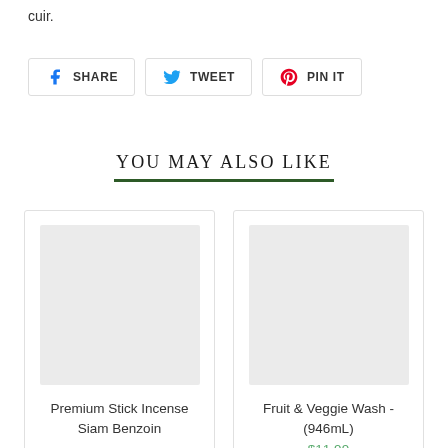cuir.
SHARE  TWEET  PIN IT
YOU MAY ALSO LIKE
[Figure (other): Product card with placeholder image for Premium Stick Incense Siam Benzoin]
[Figure (other): Product card with placeholder image for Fruit & Veggie Wash - (946mL), $11.99]